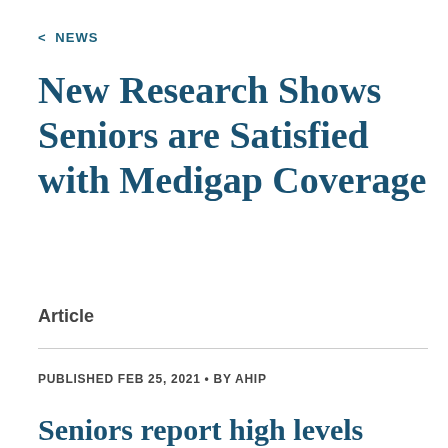< NEWS
New Research Shows Seniors are Satisfied with Medigap Coverage
Article
PUBLISHED FEB 25, 2021 • BY AHIP
Seniors report high levels